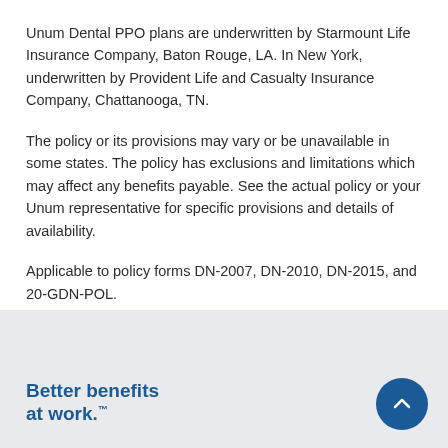Unum Dental PPO plans are underwritten by Starmount Life Insurance Company, Baton Rouge, LA. In New York, underwritten by Provident Life and Casualty Insurance Company, Chattanooga, TN.
The policy or its provisions may vary or be unavailable in some states. The policy has exclusions and limitations which may affect any benefits payable. See the actual policy or your Unum representative for specific provisions and details of availability.
Applicable to policy forms DN-2007, DN-2010, DN-2015, and 20-GDN-POL.
Better benefits at work.™